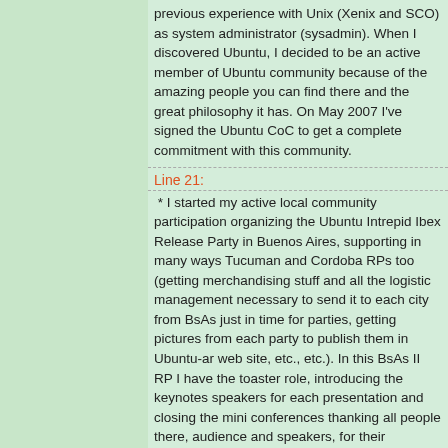previous experience with Unix (Xenix and SCO) as system administrator (sysadmin). When I discovered Ubuntu, I decided to be an active member of Ubuntu community because of the amazing people you can find there and the great philosophy it has. On May 2007 I've signed the Ubuntu CoC to get a complete commitment with this community.
Line 21:
* I started my active local community participation organizing the Ubuntu Intrepid Ibex Release Party in Buenos Aires, supporting in many ways Tucuman and Cordoba RPs too (getting merchandising stuff and all the logistic management necessary to send it to each city from BsAs just in time for parties, getting pictures from each party to publish them in Ubuntu-ar web site, etc., etc.). In this BsAs II RP I have the toaster role, introducing the keynotes speakers for each presentation and closing the mini conferences thanking all people there, audience and speakers, for their presence and work.
Line 23:
* I've active participation in educational Ubuntu training related meetings for technical personnel of Fundación Equidad, a foundation that refurbishes and donates PCs to schools and community education institutions of Argentina that t